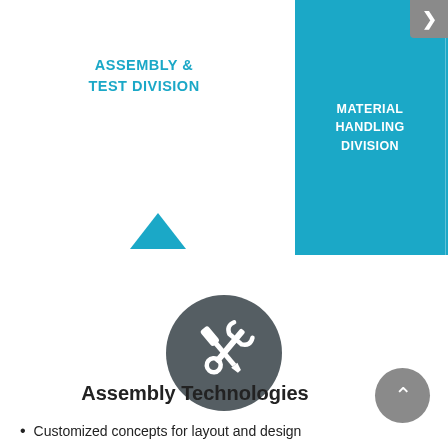ASSEMBLY & TEST DIVISION
MATERIAL HANDLING DIVISION
ROBOTICS DIVISION
PR TECH DIV
[Figure (illustration): Dark grey circle with crossed screwdriver and wrench icons (tools icon) representing assembly technologies]
Assembly Technologies
Customized concepts for layout and design